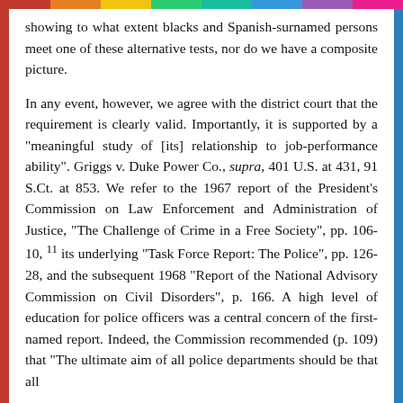showing to what extent blacks and Spanish-surnamed persons meet one of these alternative tests, nor do we have a composite picture.
In any event, however, we agree with the district court that the requirement is clearly valid. Importantly, it is supported by a "meaningful study of [its] relationship to job-performance ability". Griggs v. Duke Power Co., supra, 401 U.S. at 431, 91 S.Ct. at 853. We refer to the 1967 report of the President's Commission on Law Enforcement and Administration of Justice, "The Challenge of Crime in a Free Society", pp. 106-10, 11 its underlying "Task Force Report: The Police", pp. 126-28, and the subsequent 1968 "Report of the National Advisory Commission on Civil Disorders", p. 166. A high level of education for police officers was a central concern of the first-named report. Indeed, the Commission recommended (p. 109) that "The ultimate aim of all police departments should be that all